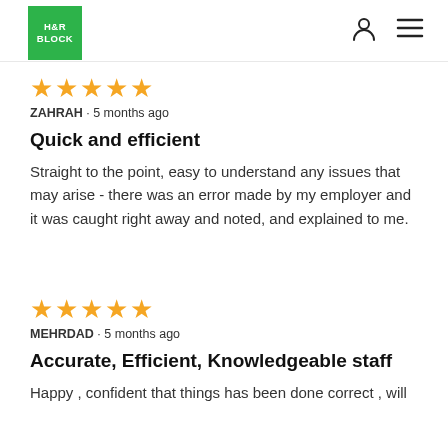H&R BLOCK navigation header with logo, user icon, and menu icon
[Figure (logo): H&R Block green square logo with white text reading H&R BLOCK]
★★★★★ ZAHRAH · 5 months ago
Quick and efficient
Straight to the point, easy to understand any issues that may arise - there was an error made by my employer and it was caught right away and noted, and explained to me.
★★★★★ MEHRDAD · 5 months ago
Accurate, Efficient, Knowledgeable staff
Happy , confident that things has been done correct , will